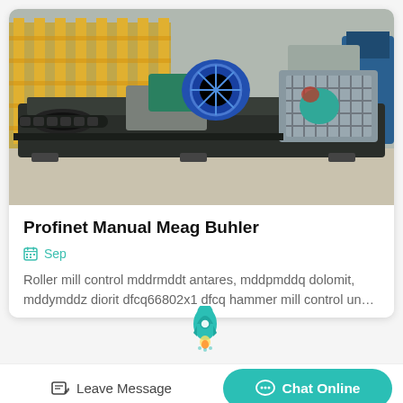[Figure (photo): Industrial roller mill / hammer mill machinery in a factory setting. Large black machine with green and blue electric motors, metal rollers and screws, on a factory floor with yellow crane equipment in the background.]
Profinet Manual Meag Buhler
Sep
Roller mill control mddrmddt antares, mddpmddq dolomit, mddymddz diorit dfcq66802x1 dfcq hammer mill control un…
Leave Message
Chat Online